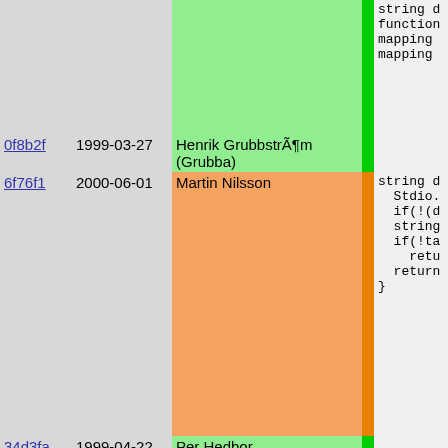| hash | date | author | bar | code |
| --- | --- | --- | --- | --- |
|  |  |  |  | string d
function
mapping
mapping |
| 0f8b2f | 1999-03-27 | Henrik Grubbström (Grubba) |  |  |
| 6f76f1 | 2000-06-01 | Martin Nilsson |  | string d
  Stdio.
  if(!(d
  string
  if(!ta
    retu
  return
} |
| 34d3fa | 1999-04-22 | Per Hedbor |  |  |
| 2ff846 | 1999-09-02 | Per Hedbor |  | static m
{
  return
} |
| 81f8af | 1999-12-20 | Martin Nilsson |  |  |
| 2ff846 | 1999-09-02 | Per Hedbor |  | static s
{
  return
} |
| 753a83 | 1999-08-30 | Per Hedbor |  |  |
| 2ff846 | 1999-09-02 | Per Hedbor |  | static m |